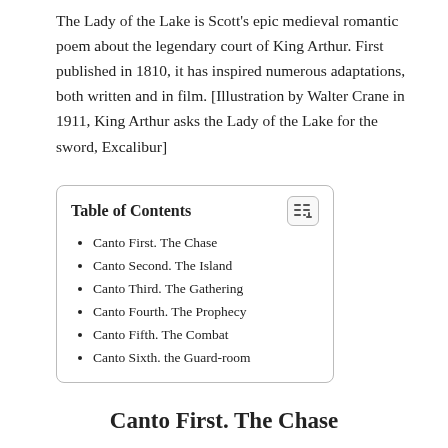The Lady of the Lake is Scott's epic medieval romantic poem about the legendary court of King Arthur. First published in 1810, it has inspired numerous adaptations, both written and in film. [Illustration by Walter Crane in 1911, King Arthur asks the Lady of the Lake for the sword, Excalibur]
Table of Contents
Canto First. The Chase
Canto Second. The Island
Canto Third. The Gathering
Canto Fourth. The Prophecy
Canto Fifth. The Combat
Canto Sixth. the Guard-room
Canto First. The Chase